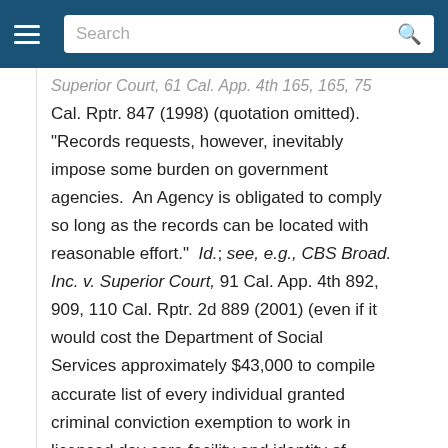Search
Superior Court, 61 Cal. App. 4th 165, 165, 75 Cal. Rptr. 847 (1998) (quotation omitted). "Records requests, however, inevitably impose some burden on government agencies.  An Agency is obligated to comply so long as the records can be located with reasonable effort."  Id.; see, e.g., CBS Broad. Inc. v. Superior Court, 91 Cal. App. 4th 892, 909, 110 Cal. Rptr. 2d 889 (2001) (even if it would cost the Department of Social Services approximately $43,000 to compile accurate list of every individual granted criminal conviction exemption to work in licensed day care facility and identity of